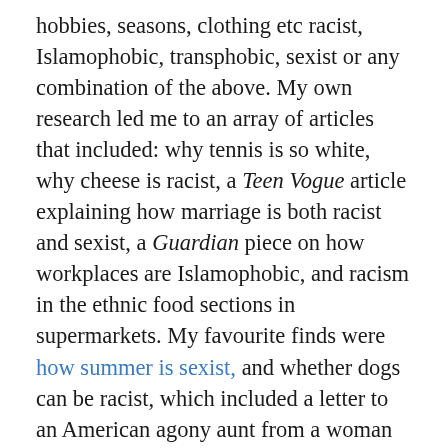hobbies, seasons, clothing etc racist, Islamophobic, transphobic, sexist or any combination of the above. My own research led me to an array of articles that included: why tennis is so white, why cheese is racist, a Teen Vogue article explaining how marriage is both racist and sexist, a Guardian piece on how workplaces are Islamophobic, and racism in the ethnic food sections in supermarkets. My favourite finds were how summer is sexist, and whether dogs can be racist, which included a letter to an American agony aunt from a woman wondering if her in-laws’ dog was racist; she wasn’t sure as the dog had no issues with mixed-race people.
How can you ever win an argument with wokesters when they have already made up their minds and are determined to see